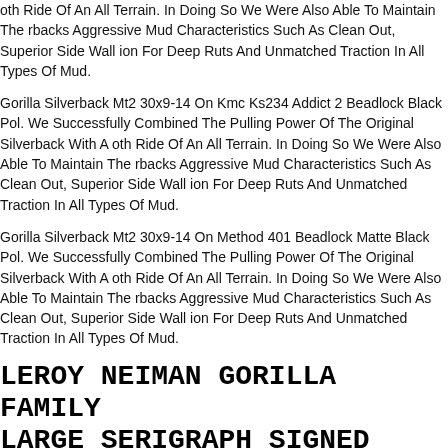oth Ride Of An All Terrain. In Doing So We Were Also Able To Maintain The rbacks Aggressive Mud Characteristics Such As Clean Out, Superior Side Wall ion For Deep Ruts And Unmatched Traction In All Types Of Mud.
Gorilla Silverback Mt2 30x9-14 On Kmc Ks234 Addict 2 Beadlock Black Pol. We Successfully Combined The Pulling Power Of The Original Silverback With A oth Ride Of An All Terrain. In Doing So We Were Also Able To Maintain The rbacks Aggressive Mud Characteristics Such As Clean Out, Superior Side Wall ion For Deep Ruts And Unmatched Traction In All Types Of Mud.
Gorilla Silverback Mt2 30x9-14 On Method 401 Beadlock Matte Black Pol. We Successfully Combined The Pulling Power Of The Original Silverback With A oth Ride Of An All Terrain. In Doing So We Were Also Able To Maintain The rbacks Aggressive Mud Characteristics Such As Clean Out, Superior Side Wall ion For Deep Ruts And Unmatched Traction In All Types Of Mud.
LEROY NEIMAN GORILLA FAMILY LARGE SERIGRAPH SIGNED ANIMAL ARTWORK #243/300
a Family By Leroy Neiman. Number 243300.
T 4 GORILLA SILVERBACK MT2